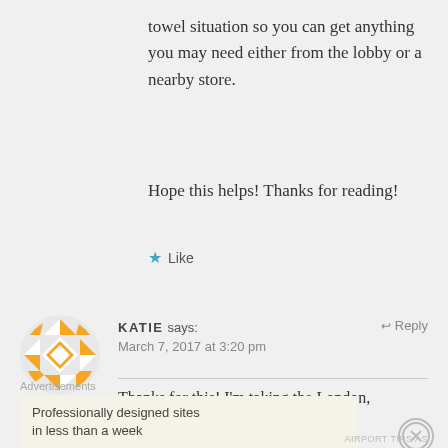towel situation so you can get anything you may need either from the lobby or a nearby store.
Hope this helps! Thanks for reading!
Like
[Figure (illustration): WordPress avatar icon with orange geometric pinwheel/quilt pattern on white circle background]
KATIE says: March 7, 2017 at 3:20 pm Reply
Thanks for this! I'm taking the London, Paris, Amsterdam tour in May. I have
Advertisements
Professionally designed sites in less than a week
[Figure (logo): WordPress logo - black circle with W inside]
AIRPORT TIPS AS